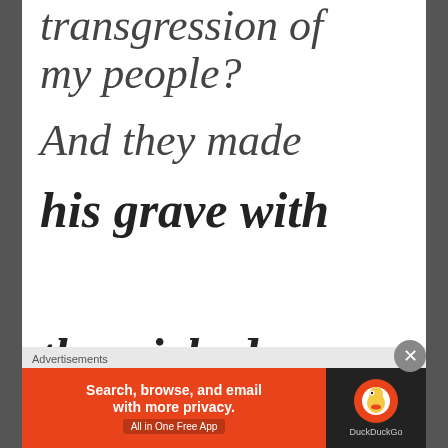transgression of my people? And they made his grave with the wicked
with...
[Figure (screenshot): DuckDuckGo advertisement banner with orange background, text 'Search, browse, and email with more privacy. All in One Free App' and DuckDuckGo duck logo on dark right panel.]
Advertisements